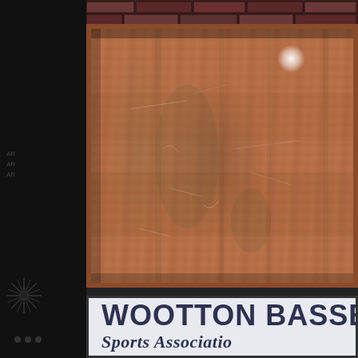[Figure (photo): A weathered, rusted metal notice board mounted on a brick wall. The board shows heavy rust staining, peeling paint in reddish-brown tones, with a bright specular highlight (white circle) from a light reflection in the upper right portion. The surface has vertical streaks and green-tinged rust/mold patches. Below the board is a white sign panel with the text 'WOOTTON BASSE' (partially cropped) in bold dark letters and 'Sports Associatio' (partially cropped) in bold italic beneath it. A dark side panel is visible on the left edge of the image containing faint text.]